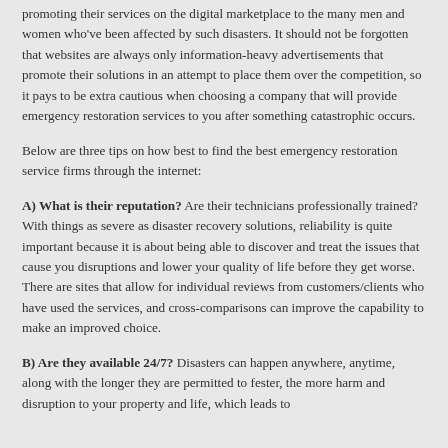promoting their services on the digital marketplace to the many men and women who've been affected by such disasters. It should not be forgotten that websites are always only information-heavy advertisements that promote their solutions in an attempt to place them over the competition, so it pays to be extra cautious when choosing a company that will provide emergency restoration services to you after something catastrophic occurs.
Below are three tips on how best to find the best emergency restoration service firms through the internet:
A) What is their reputation? Are their technicians professionally trained? With things as severe as disaster recovery solutions, reliability is quite important because it is about being able to discover and treat the issues that cause you disruptions and lower your quality of life before they get worse. There are sites that allow for individual reviews from customers/clients who have used the services, and cross-comparisons can improve the capability to make an improved choice.
B) Are they available 24/7? Disasters can happen anywhere, anytime, along with the longer they are permitted to fester, the more harm and disruption to your property and life, which leads to